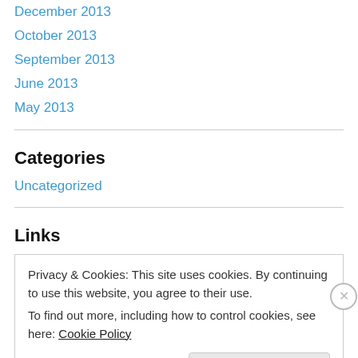December 2013
October 2013
September 2013
June 2013
May 2013
Categories
Uncategorized
Links
Privacy & Cookies: This site uses cookies. By continuing to use this website, you agree to their use.
To find out more, including how to control cookies, see here: Cookie Policy
Close and accept